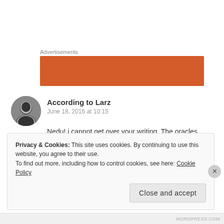Advertisements
[Figure (other): Orange advertisement banner placeholder]
According to Larz
June 18, 2016 at 10:15
Nedu! i cannot get over your writing. The oracles have spoken, its time for a meet up and possible collaboration! how are you dear?
Privacy & Cookies: This site uses cookies. By continuing to use this website, you agree to their use.
To find out more, including how to control cookies, see here: Cookie Policy
Close and accept